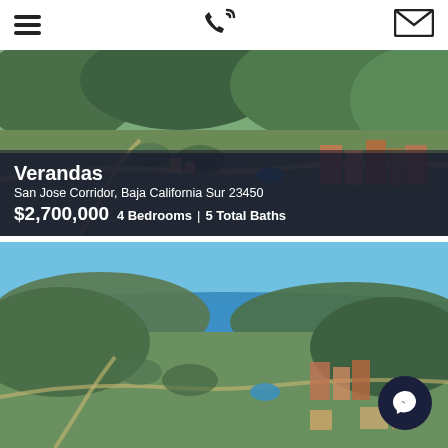Navigation bar with hamburger menu, phone icon, and email icon
[Figure (photo): Aerial panoramic view of Verandas development in San Jose Corridor, Baja California Sur — showing hillside terrain with green vegetation, residential buildings, roads, and a pool area]
Verandas
San Jose Corridor, Baja California Sur 23450
$2,700,000  4 Bedrooms | 5 Total Baths
[Figure (photo): Aerial panoramic view of the same development showing blue sky, ocean in background, green hills, and the residential community from a higher vantage point with a Facebook Messenger button overlay]